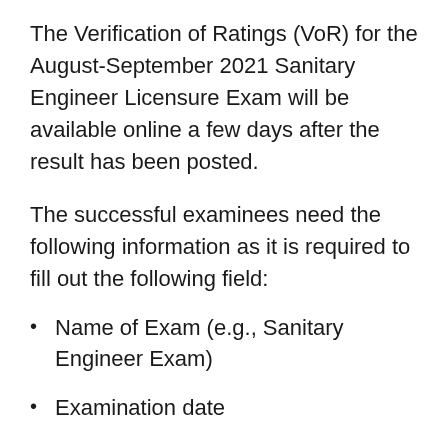The Verification of Ratings (VoR) for the August-September 2021 Sanitary Engineer Licensure Exam will be available online a few days after the result has been posted.
The successful examinees need the following information as it is required to fill out the following field:
Name of Exam (e.g., Sanitary Engineer Exam)
Examination date
Application number
First name and Surname